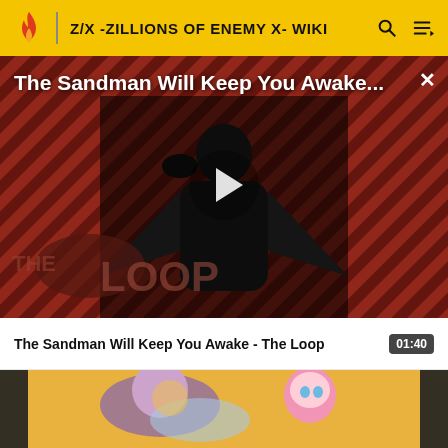Z/X -ZILLIONS OF ENEMY X- WIKI
[Figure (screenshot): Video player overlay showing a dark-cloaked figure against a red and black diagonal striped background with 'THE LOOP' text. A large white play button triangle is centered. Video title 'The Sandman Will Keep You Awake...' appears at top left in white text. An X close button is at top right.]
The Sandman Will Keep You Awake - The Loop
01:40
[Figure (illustration): Anime-style illustration showing colorful fantasy characters including a figure with pink hair and a unicorn-like creature against a yellow/orange background, visible in a thumbnail strip at the bottom of the page.]